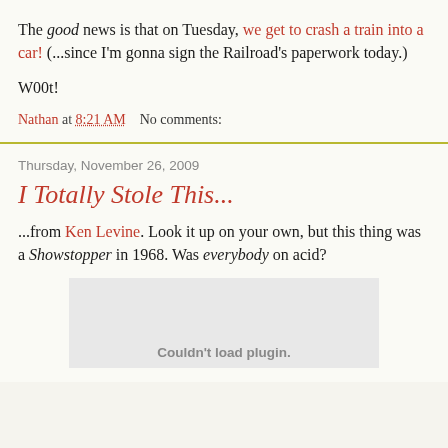The good news is that on Tuesday, we get to crash a train into a car! (...since I'm gonna sign the Railroad's paperwork today.)
W00t!
Nathan at 8:21 AM    No comments:
Thursday, November 26, 2009
I Totally Stole This...
...from Ken Levine. Look it up on your own, but this thing was a Showstopper in 1968. Was everybody on acid?
[Figure (other): Embedded plugin area showing 'Couldn't load plugin.' message]
Couldn't load plugin.